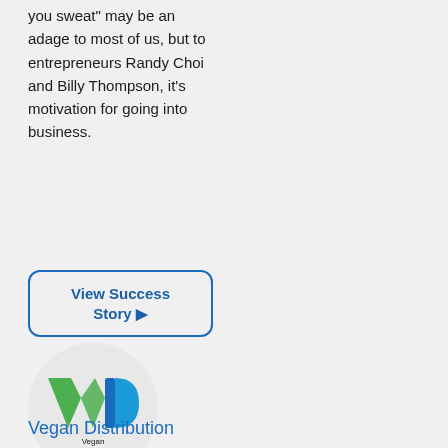you sweat" may be an adage to most of us, but to entrepreneurs Randy Choi and Billy Thompson, it's motivation for going into business.
people what they should like, encourages people to speak their minds – and then creates delicious wine based on what they say.
View Success Story ▶
View Success Story ▶
[Figure (logo): Vegan Distribution logo — green and blue stylized VD letters with 'Vegan Distribution' text below, inside a light grey circle]
Vegan Distribution